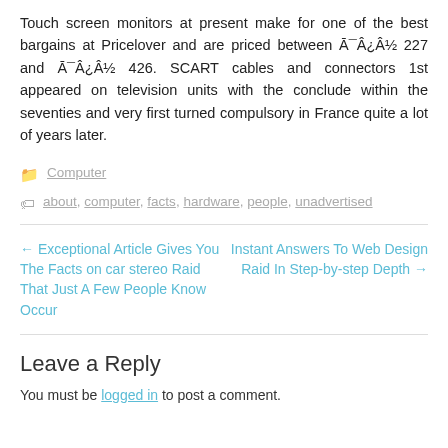Touch screen monitors at present make for one of the best bargains at Pricelover and are priced between Ā¯Â¿Â½ 227 and Ā¯Â¿Â½ 426. SCART cables and connectors 1st appeared on television units with the conclude within the seventies and very first turned compulsory in France quite a lot of years later.
Computer
about, computer, facts, hardware, people, unadvertised
← Exceptional Article Gives You The Facts on car stereo Raid That Just A Few People Know Occur
Instant Answers To Web Design Raid In Step-by-step Depth →
Leave a Reply
You must be logged in to post a comment.